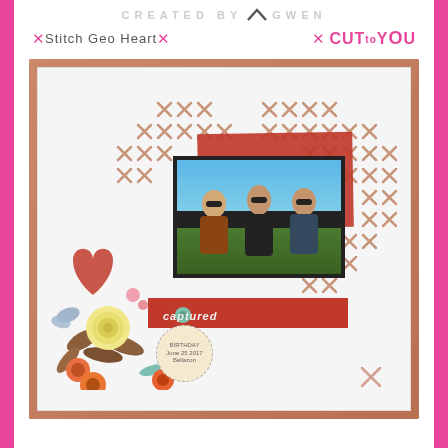CREATED BY GWEN
Stitch Geo Heart
CUT to YOU
[Figure (photo): Scrapbook layout page featuring a heart-shaped cross-stitch pattern made of rose-gold X stitches on a light background, a photograph of three women standing outdoors, surrounded by decorative paper flowers in orange, cream, rust and pink tones with brown leaves and butterfly embellishments. Red cardstock accents and a 'captured' label are also visible.]